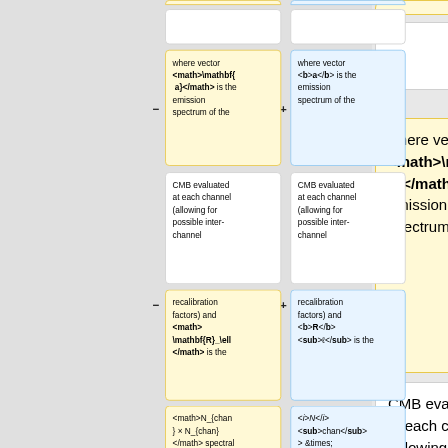where vector <math>\mathbf{a}</math> is the emission spectrum of the
where vector <b>a</b> is the emission spectrum of the
CMB evaluated at each channel (allowing for possible inter-channel
CMB evaluated at each channel (allowing for possible inter-channel
recalibration factors) and <math>\mathbf{R}_\ell</math> is the
recalibration factors) and <b>R</b><sub>ℓ</sub> is the
<math>N_{chan} × N_{chan}</math> spectral
<i>N</i><sub>chan</sub> &times; <i>N</i><sub>chan</sub>